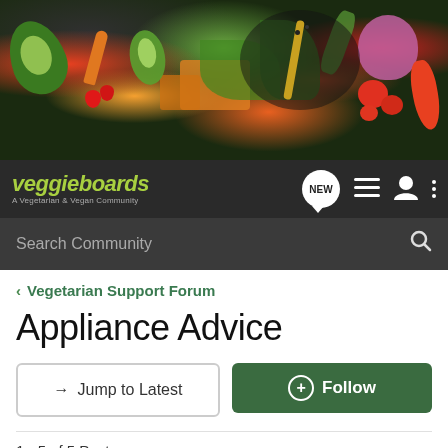[Figure (photo): Hero banner image showing colorful fresh vegetables and salad ingredients including avocado, tomatoes, carrots, red onion, peppers, cucumber, and leafy greens on a dark background]
veggieboards - A Vegetarian & Vegan Community | NEW | menu | user | more
Search Community
< Vegetarian Support Forum
Appliance Advice
→ Jump to Latest
+ Follow
1 - 5 of 5 Posts
AKTF · Registered
Joined Nov 8, 2010 · 126 Posts